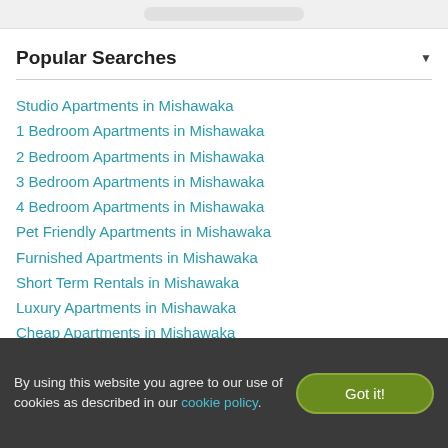Popular Searches
Studio Apartments in Mishawaka
1 Bedroom Apartments in Mishawaka
2 Bedroom Apartments in Mishawaka
3 Bedroom Apartments in Mishawaka
4 Bedroom Apartments in Mishawaka
Pet Friendly Apartments in Mishawaka
Furnished Apartments in Mishawaka
Short Term Rentals in Mishawaka
Luxury Apartments in Mishawaka
Cheap Apartments in Mishawaka
Mishawaka Apartments under $900
Mishawaka Apartments under $1000
Mishawaka Apartments under $1100
By using this website you agree to our use of cookies as described in our cookie policy.